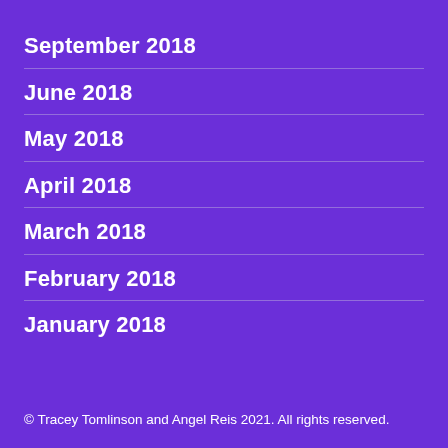September 2018
June 2018
May 2018
April 2018
March 2018
February 2018
January 2018
© Tracey Tomlinson and Angel Reis 2021.  All rights reserved.